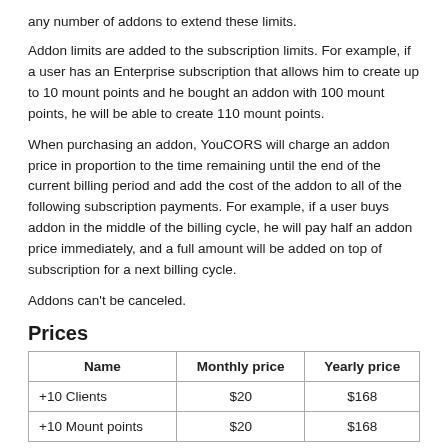any number of addons to extend these limits.
Addon limits are added to the subscription limits. For example, if a user has an Enterprise subscription that allows him to create up to 10 mount points and he bought an addon with 100 mount points, he will be able to create 110 mount points.
When purchasing an addon, YouCORS will charge an addon price in proportion to the time remaining until the end of the current billing period and add the cost of the addon to all of the following subscription payments. For example, if a user buys addon in the middle of the billing cycle, he will pay half an addon price immediately, and a full amount will be added on top of subscription for a next billing cycle.
Addons can't be canceled.
Prices
| Name | Monthly price | Yearly price |
| --- | --- | --- |
| +10 Clients | $20 | $168 |
| +10 Mount points | $20 | $168 |